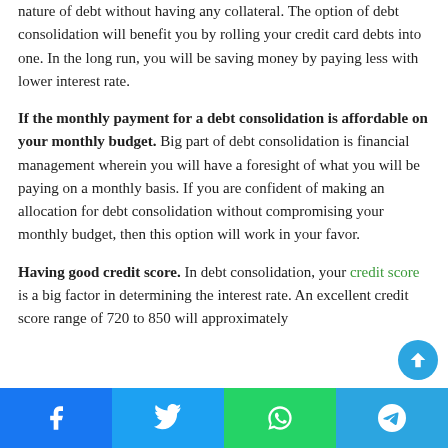nature of debt without having any collateral. The option of debt consolidation will benefit you by rolling your credit card debts into one. In the long run, you will be saving money by paying less with lower interest rate.
If the monthly payment for a debt consolidation is affordable on your monthly budget. Big part of debt consolidation is financial management wherein you will have a foresight of what you will be paying on a monthly basis. If you are confident of making an allocation for debt consolidation without compromising your monthly budget, then this option will work in your favor.
Having good credit score. In debt consolidation, your credit score is a big factor in determining the interest rate. An excellent credit score range of 720 to 850 will approximately
Facebook Twitter WhatsApp Telegram